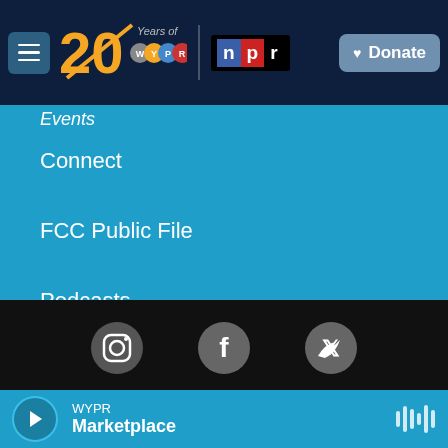WYPR 20 Years of WYPR | NPR | Donate
Events
Connect
FCC Public File
Podcasts
Newsletters & Emails
[Figure (logo): Social media icons: Instagram, Facebook, Twitter]
[Figure (logo): Partner logos: PRX, Charity Navigator (4 stars), YouTube]
WYPR | Marketplace — play button and audio waveform control